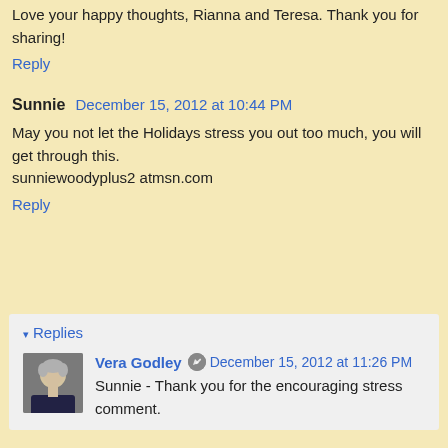Love your happy thoughts, Rianna and Teresa. Thank you for sharing!
Reply
Sunnie  December 15, 2012 at 10:44 PM
May you not let the Holidays stress you out too much, you will get through this.
sunniewoodyplus2 atmsn.com
Reply
Replies
[Figure (photo): Profile photo of Vera Godley, a woman with short gray hair wearing a dark jacket]
Vera Godley  December 15, 2012 at 11:26 PM
Sunnie - Thank you for the encouraging stress comment.